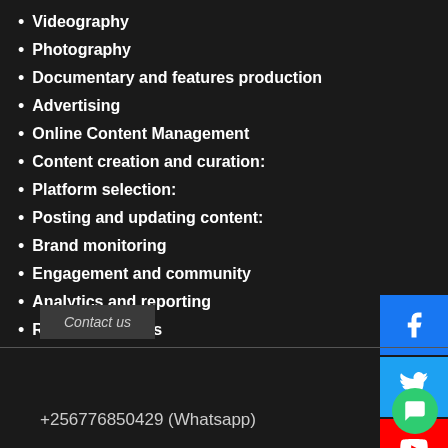Videography
Photography
Documentary and features production
Advertising
Online Content Management
Content creation and curation:
Platform selection:
Posting and updating content:
Brand monitoring
Engagement and community
Analytics and reporting
Review meetings
Contact us
+256776850429 (Whatsapp)